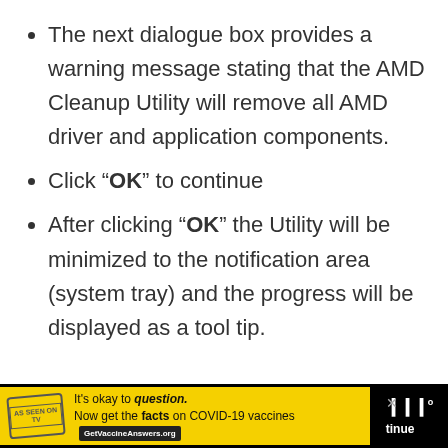The next dialogue box provides a warning message stating that the AMD Cleanup Utility will remove all AMD driver and application components.
Click “OK” to continue
After clicking “OK” the Utility will be minimized to the notification area (system tray) and the progress will be displayed as a tool tip.
[Figure (screenshot): Advertisement banner at the bottom: yellow background with stamp logo, text 'It’s okay to question. Now get the facts on COVID-19 vaccines GetVaccineAnswers.org', with close button and dark right section showing partial text 'tinue']